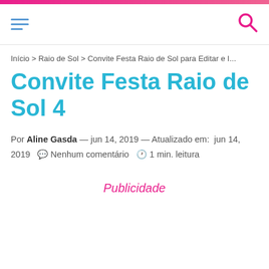☰ ☾ [search icon]
Início > Raio de Sol > Convite Festa Raio de Sol para Editar e I...
Convite Festa Raio de Sol 4
Por Aline Gasda — jun 14, 2019 — Atualizado em: jun 14, 2019  🗨 Nenhum comentário  🕐 1 min. leitura
Publicidade